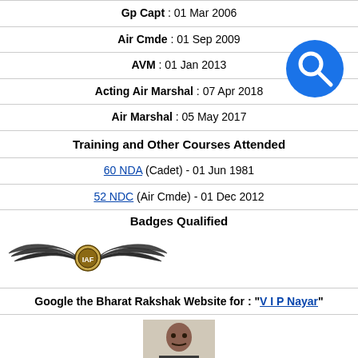Gp Capt : 01 Mar 2006
Air Cmde : 01 Sep 2009
AVM : 01 Jan 2013
Acting Air Marshal : 07 Apr 2018
Air Marshal : 05 May 2017
Training and Other Courses Attended
60 NDA (Cadet) - 01 Jun 1981
52 NDC (Air Cmde) - 01 Dec 2012
Badges Qualified
[Figure (illustration): IAF pilot wings badge]
Google the Bharat Rakshak Website for : "V I P Nayar"
[Figure (photo): Photograph of V I P Nayar]